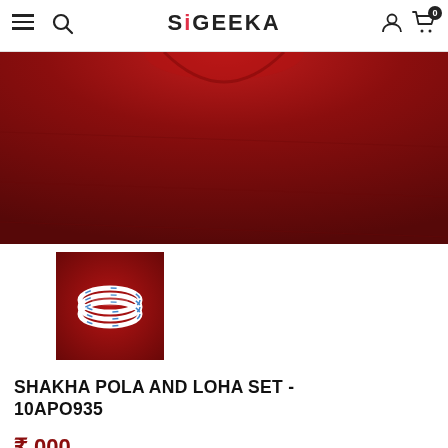SIGEEKA — navigation bar with hamburger menu, search icon, logo, user icon, cart (0)
[Figure (photo): Close-up product photo showing a dark red/maroon fabric garment with a round neckline against dark red background]
[Figure (photo): Thumbnail image of white bangles/bracelets (Shakha Pola and Loha set) on dark red background]
SHAKHA POLA AND LOHA SET - 10APO935
₹ 000.00